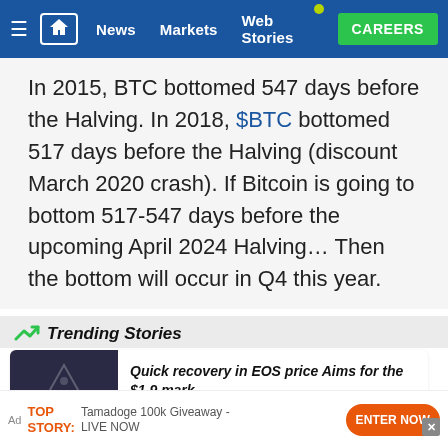≡  🏠  News  Markets  Web Stories  CAREERS
In 2015, BTC bottomed 547 days before the Halving. In 2018, $BTC bottomed 517 days before the Halving (discount March 2020 crash). If Bitcoin is going to bottom 517-547 days before the upcoming April 2024 Halving… Then the bottom will occur in Q4 this year.
Trending Stories
Quick recovery in EOS price Aims for the $1.9 mark
Ad  TOP STORY:  Tamadoge 100k Giveaway - LIVE NOW  ENTER NOW